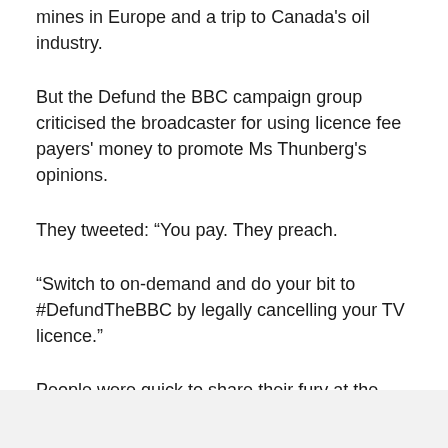mines in Europe and a trip to Canada's oil industry.
But the Defund the BBC campaign group criticised the broadcaster for using licence fee payers' money to promote Ms Thunberg's opinions.
They tweeted: “You pay. They preach.
“Switch to on-demand and do your bit to #DefundTheBBC by legally cancelling your TV licence.”
People were quick to share their fury at the news underneath the post.
One person wrote: “I won’t be watching.”